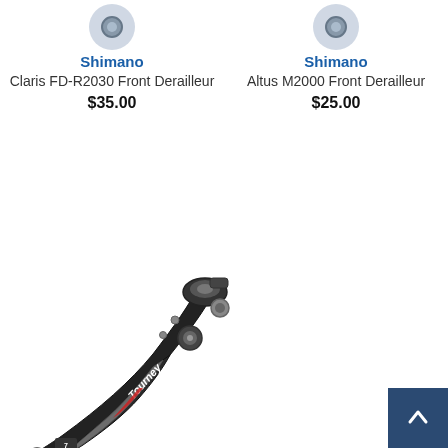Shimano
Claris FD-R2030 Front Derailleur
$35.00
Shimano
Altus M2000 Front Derailleur
$25.00
[Figure (photo): Shimano Tourney 7-Speed Front Derailleur product photo, black metal derailleur with Tourney branding]
Shimano
Tourney 7-Speed Front Derailleur
$25.00